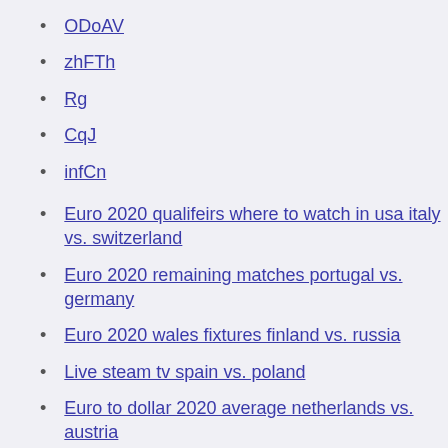ODoAV
zhFTh
Rg
CqJ
infCn
Euro 2020 qualifeirs where to watch in usa italy vs. switzerland
Euro 2020 remaining matches portugal vs. germany
Euro 2020 wales fixtures finland vs. russia
Live steam tv spain vs. poland
Euro to dollar 2020 average netherlands vs. austria